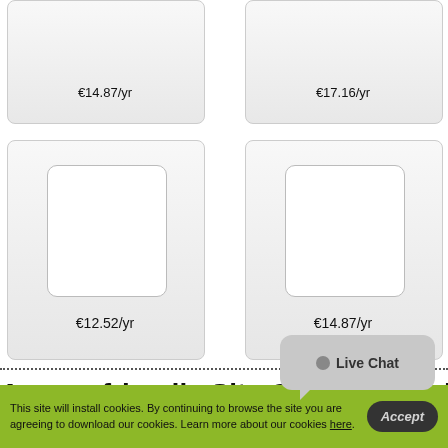€14.87/yr
€17.16/yr
[Figure (screenshot): Product card with inner white rounded rectangle]
€12.52/yr
[Figure (screenshot): Product card with inner white rounded rectangle]
€14.87/yr
A user–friendly Site Control Panel
The Morvedre Hosting Site Control Panel is designed to help you create your very own personal website from the ground up...
This site will install cookies. By continuing to browse the site you are agreeing to download our cookies. Learn more about our cookies here.
Live Chat